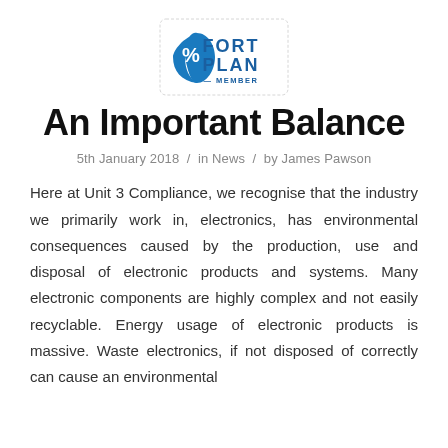[Figure (logo): Fort Plan % Member logo — blue crescent/bracket shape with percent symbol and 'FORT PLAN' text in blue, 'MEMBER' in smaller text below]
An Important Balance
5th January 2018  /  in News  /  by James Pawson
Here at Unit 3 Compliance, we recognise that the industry we primarily work in, electronics, has environmental consequences caused by the production, use and disposal of electronic products and systems. Many electronic components are highly complex and not easily recyclable. Energy usage of electronic products is massive. Waste electronics, if not disposed of correctly can cause an environmental